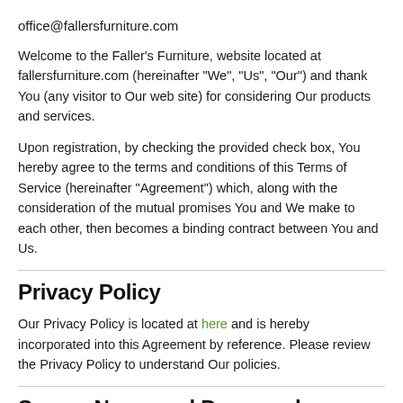office@fallersfurniture.com
Welcome to the Faller's Furniture, website located at fallersfurniture.com (hereinafter "We", "Us", "Our") and thank You (any visitor to Our web site) for considering Our products and services.
Upon registration, by checking the provided check box, You hereby agree to the terms and conditions of this Terms of Service (hereinafter "Agreement") which, along with the consideration of the mutual promises You and We make to each other, then becomes a binding contract between You and Us.
Privacy Policy
Our Privacy Policy is located at here and is hereby incorporated into this Agreement by reference. Please review the Privacy Policy to understand Our policies.
Screen Name and Passwords